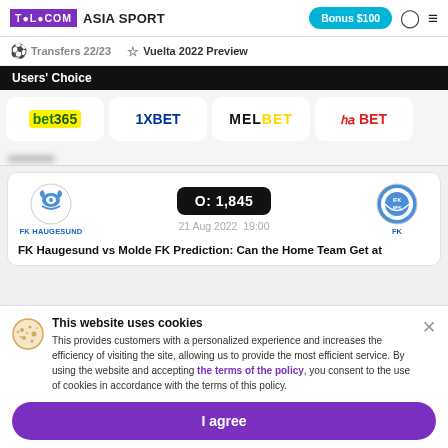TELECOM ASIA SPORT | Bonus $100
Transfers 22/23 | Vuelta 2022 Preview
Users' Choice
[Figure (logo): bet365 logo]
[Figure (logo): 1XBET logo]
[Figure (logo): MELBET logo]
[Figure (logo): 22BET logo]
O: 1,845
21 Aug 2022   19:00
FK Haugesund vs Molde FK Prediction: Can the Home Team Get at
This website uses cookies
This provides customers with a personalized experience and increases the efficiency of visiting the site, allowing us to provide the most efficient service. By using the website and accepting the terms of the policy, you consent to the use of cookies in accordance with the terms of this policy.
I agree